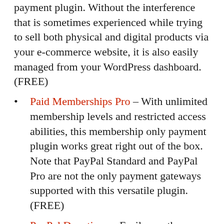payment plugin. Without the interference that is sometimes experienced while trying to sell both physical and digital products via your e-commerce website, it is also easily managed from your WordPress dashboard. (FREE)
Paid Memberships Pro – With unlimited membership levels and restricted access abilities, this membership only payment plugin works great right out of the box. Note that PayPal Standard and PayPal Pro are not the only payment gateways supported with this versatile plugin. (FREE)
PayPal Donations – Easily use the default setup and add a PayPal Donation shortcode and sidebar widget to your WordPress website using PayPal Donations. (FREE)